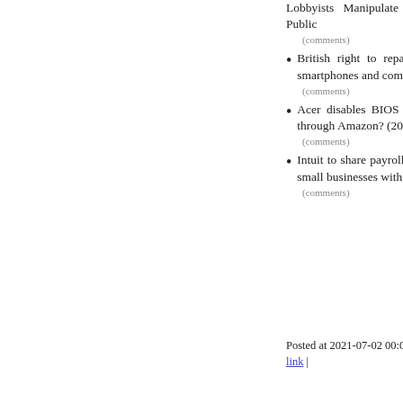Lobbyists Manipulate Politicians and Public
(comments)
British right to repair law excludes smartphones and computers
(comments)
Acer disables BIOS for laptops sold through Amazon? (2020)
(comments)
Intuit to share payroll data from 1.4M small businesses with Equifax
(comments)
Posted at 2021-07-02 00:00 | Permanent link |